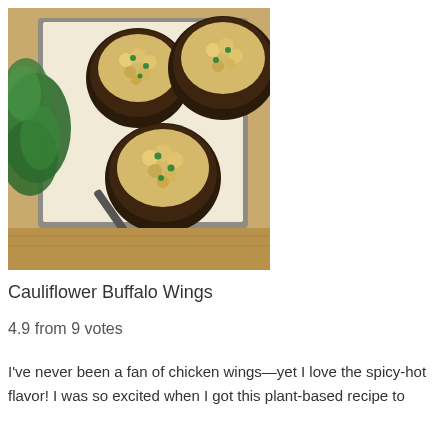[Figure (photo): Stuffed portobello mushrooms filled with cauliflower and herbs on a metal baking sheet lined with parchment paper, with kale leaves visible on the left side and a wooden cutting board underneath. Three mushrooms visible.]
Cauliflower Buffalo Wings
4.9 from 9 votes
I've never been a fan of chicken wings—yet I love the spicy-hot flavor! I was so excited when I got this plant-based recipe to